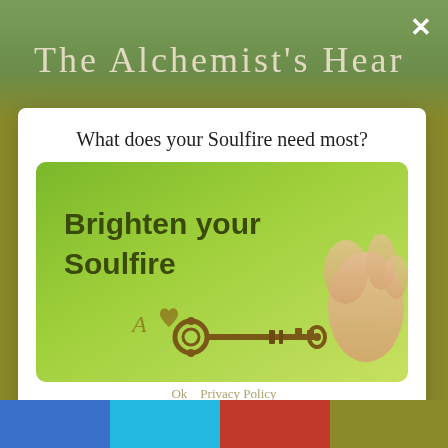The Alchemist's Heart
What does your Soulfire need most?
[Figure (illustration): Green background image with text 'Brighten your Soulfire', an ornate antique key held by fingers, and a small logo with stylized A and heart]
Discover which of eight specific keys you need to nourish your Soulfire for more energy, beauty, and magic
OK   Privacy Policy